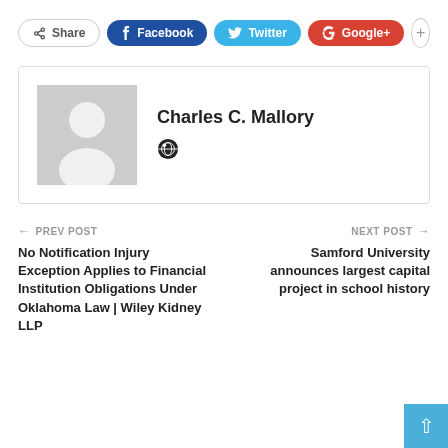[Figure (infographic): Social sharing buttons: Share, Facebook, Twitter, Google+, and a plus button]
[Figure (infographic): Author card with placeholder avatar silhouette and name Charles C. Mallory with globe/link icon]
← PREV POST
No Notification Injury Exception Applies to Financial Institution Obligations Under Oklahoma Law | Wiley Kidney LLP
NEXT POST →
Samford University announces largest capital project in school history